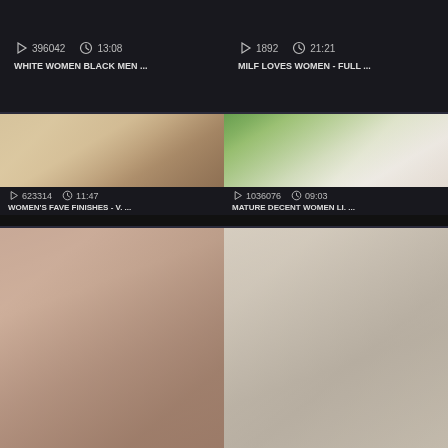[Figure (screenshot): Video grid listing showing 6 video thumbnails with view counts, durations, and titles. Top-left card: 396042 views, 13:08 duration, title WHITE WOMEN BLACK MEN ... Top-right card: 1892 views, 21:21 duration, title MILF LOVES WOMEN - FULL ... Middle-left card: thumbnail of massage scene, 623314 views, 11:47, WOMEN'S FAVE FINISHES - V... Middle-right card: thumbnail of blonde woman, 1036076 views, 09:03, MATURE DECENT WOMEN LI... Bottom-left: close-up thumbnail. Bottom-right: room scene thumbnail.]